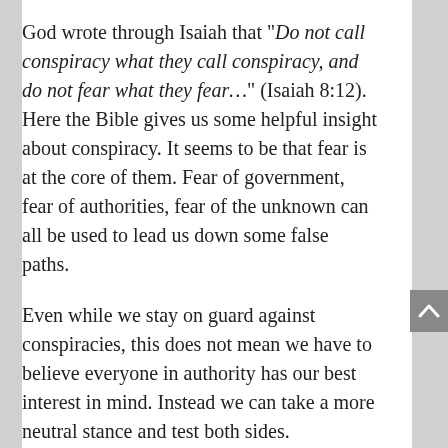God wrote through Isaiah that "Do not call conspiracy what they call conspiracy, and do not fear what they fear…" (Isaiah 8:12). Here the Bible gives us some helpful insight about conspiracy. It seems to be that fear is at the core of them. Fear of government, fear of authorities, fear of the unknown can all be used to lead us down some false paths.
Even while we stay on guard against conspiracies, this does not mean we have to believe everyone in authority has our best interest in mind. Instead we can take a more neutral stance and test both sides.